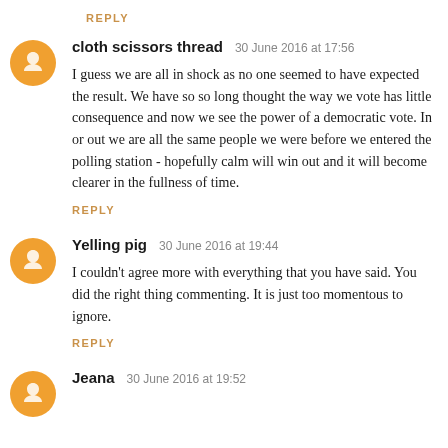REPLY
cloth scissors thread  30 June 2016 at 17:56
I guess we are all in shock as no one seemed to have expected the result. We have so so long thought the way we vote has little consequence and now we see the power of a democratic vote. In or out we are all the same people we were before we entered the polling station - hopefully calm will win out and it will become clearer in the fullness of time.
REPLY
Yelling pig  30 June 2016 at 19:44
I couldn't agree more with everything that you have said. You did the right thing commenting. It is just too momentous to ignore.
REPLY
Jeana  30 June 2016 at 19:52